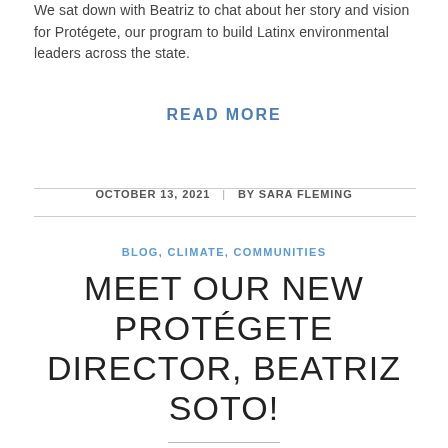We sat down with Beatriz to chat about her story and vision for Protégete, our program to build Latinx environmental leaders across the state.
READ MORE
OCTOBER 13, 2021  |  BY SARA FLEMING
BLOG, CLIMATE, COMMUNITIES
MEET OUR NEW PROTÉGETE DIRECTOR, BEATRIZ SOTO!